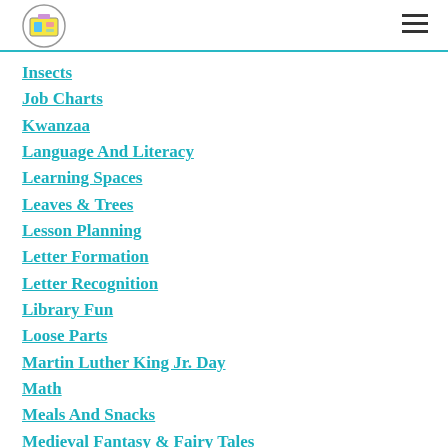Child Printables Club logo and navigation
Insects
Job Charts
Kwanzaa
Language And Literacy
Learning Spaces
Leaves & Trees
Lesson Planning
Letter Formation
Letter Recognition
Library Fun
Loose Parts
Martin Luther King Jr. Day
Math
Meals And Snacks
Medieval Fantasy & Fairy Tales
Military